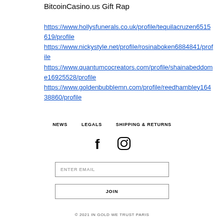BitcoinCasino.us Gift Rap
https://www.hollysfunerals.co.uk/profile/tequilacruzen6515619/profile https://www.nickystyle.net/profile/rosinaboken6884841/profile https://www.quantumcocreators.com/profile/shainabeddome16925528/profile https://www.goldenbubblemn.com/profile/reedhambley16438860/profile
NEWS  LEGALS  SHIPPING & RETURNS
© 2021  IN GOLD WE TRUST PARIS